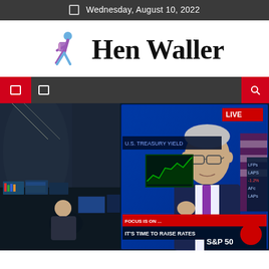Wednesday, August 10, 2022
[Figure (logo): Hen Waller logo with stylized hiker figure in purple and blue, followed by text 'Hen Waller' in serif font]
[Figure (screenshot): Navigation bar with dark background, red icons/boxes for menu and search]
[Figure (photo): Stock trading floor with multiple monitors showing financial data, large screen showing Jerome Powell speaking on a news broadcast with text 'S&P 500' and 'TIME TO RAISE RATES' visible]